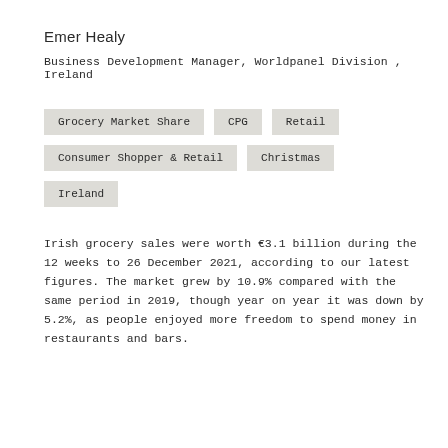Emer Healy
Business Development Manager, Worldpanel Division , Ireland
Grocery Market Share
CPG
Retail
Consumer Shopper & Retail
Christmas
Ireland
Irish grocery sales were worth €3.1 billion during the 12 weeks to 26 December 2021, according to our latest figures. The market grew by 10.9% compared with the same period in 2019, though year on year it was down by 5.2%, as people enjoyed more freedom to spend money in restaurants and bars.